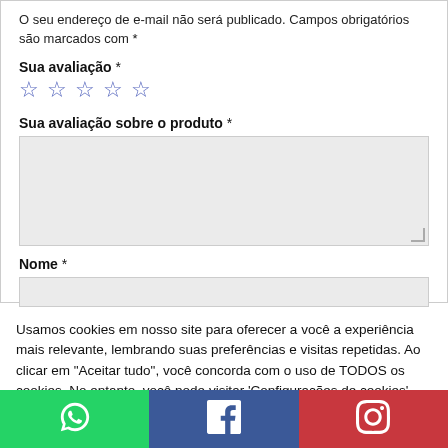O seu endereço de e-mail não será publicado. Campos obrigatórios são marcados com *
Sua avaliação *
[Figure (other): Five empty star rating icons in blue outline]
Sua avaliação sobre o produto *
[Figure (other): Empty textarea input field with resize handle]
Nome *
[Figure (other): Empty text input field for name]
Usamos cookies em nosso site para oferecer a você a experiência mais relevante, lembrando suas preferências e visitas repetidas. Ao clicar em "Aceitar tudo", você concorda com o uso de TODOS os cookies. No entanto, você pode visitar 'Configurações de cookies' para fornecer um consentimento controlado.
Configurações de cookies | Aceito todos os termos
[Figure (other): Social media bar with WhatsApp (green), Facebook (blue), and Instagram (red) icons]